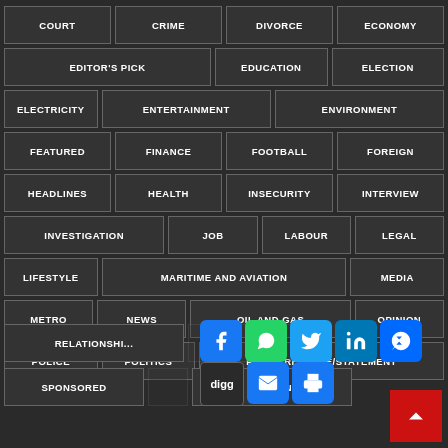COURT
CRIME
DIVORCE
ECONOMY
EDITOR'S PICK
EDUCATION
ELECTION
ELECTRICITY
ENTERTAINMENT
ENVIRONMENT
FEATURED
FINANCE
FOOTBALL
FOREIGN
HEADLINES
HEALTH
INSECURITY
INTERVIEW
INVESTIGATION
JOB
LABOUR
LEGAL
LIFESTYLE
MARITIME AND AVIATION
MEDIA
METRO
NEWS
OIL AND GAS
OPINION
POLICE
POLITICS
PRESS RELEASE/STATEMENT
RELATIONSHIPS...
SPONSORED
TECHNOLOGY